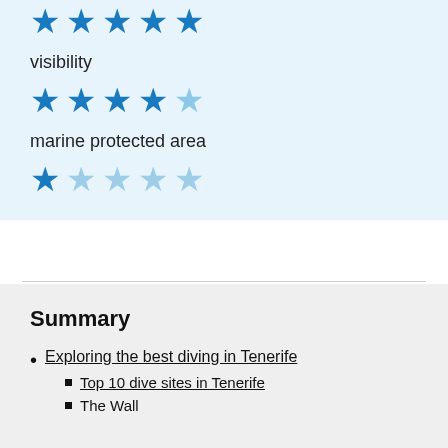[Figure (other): 5 full blue stars rating row (cropped at top)]
visibility
[Figure (other): 4 full blue stars and 1 light star rating row]
marine protected area
[Figure (other): 1 full blue star and 4 light blue stars rating row]
Summary
Exploring the best diving in Tenerife
Top 10 dive sites in Tenerife
The Wall